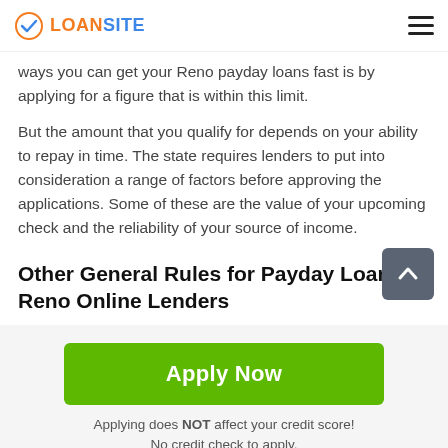LOANSITE
ways you can get your Reno payday loans fast is by applying for a figure that is within this limit.
But the amount that you qualify for depends on your ability to repay in time. The state requires lenders to put into consideration a range of factors before approving the applications. Some of these are the value of your upcoming check and the reliability of your source of income.
Other General Rules for Payday Loans Reno Online Lenders
Apply Now
Applying does NOT affect your credit score!
No credit check to apply.